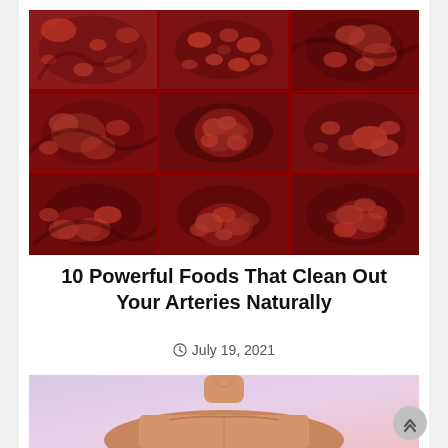[Figure (photo): 3x3 grid of medical illustrations showing blood cells and arterial plaque/blockages inside arteries, rendered in deep red tones]
10 Powerful Foods That Clean Out Your Arteries Naturally
July 19, 2021
[Figure (illustration): Illustration of a human torso/upper body showing the chest and neck area, with a purple/pink gradient background]